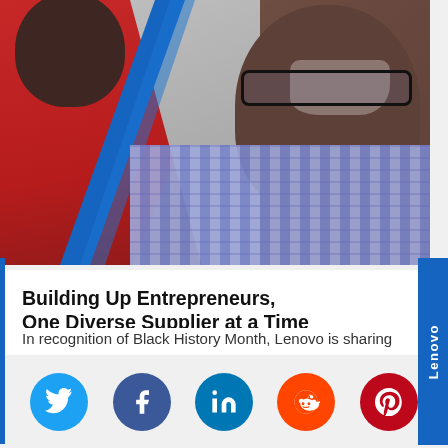[Figure (photo): Two Black men — one on the left wearing a red polo shirt, one on the right wearing glasses and a plaid shirt — shown in a composite photo with a blue diagonal divider between them.]
Building Up Entrepreneurs, One Diverse Supplier at a Time
In recognition of Black History Month, Lenovo is sharing the stories of some of its diverse suppliers in the U.S. Kemah
[Figure (logo): Lenovo blue vertical side tab with white text reading 'Lenovo']
[Figure (infographic): Social media share buttons: Twitter (blue), Facebook (dark blue), LinkedIn (blue), Reddit (orange), Pinterest (red) — circular icons in a row at the bottom of the page.]